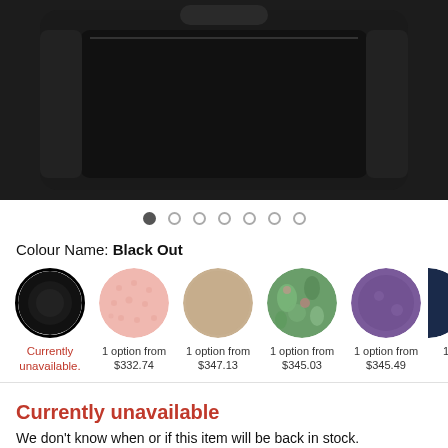[Figure (photo): Close-up photo of a black backpack or bag against a white background, showing the main compartment and fabric texture.]
Colour Name: Black Out
[Figure (illustration): Color swatches row showing 6 color options: Black Out (currently unavailable, selected with ring), pink, tan/beige, green floral, purple, and navy (partially visible). Each swatch is a circle with availability and price information below.]
Currently unavailable.
1 option from $332.74
1 option from $347.13
1 option from $345.03
1 option from $345.49
Currently unavailable
We don't know when or if this item will be back in stock.